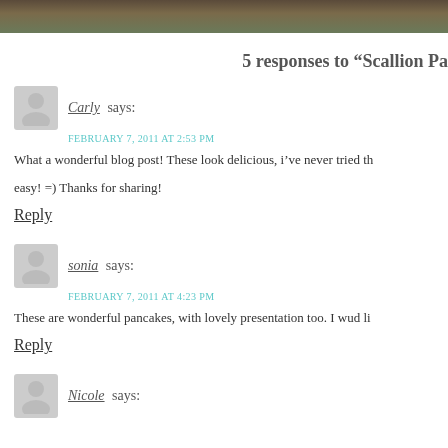[Figure (photo): Partial photo strip at top of page, dark brownish-green tones]
5 responses to “Scallion Pa
Carly says:
FEBRUARY 7, 2011 AT 2:53 PM
What a wonderful blog post! These look delicious, i’ve never tried th… easy! =) Thanks for sharing!
Reply
sonia says:
FEBRUARY 7, 2011 AT 4:23 PM
These are wonderful pancakes, with lovely presentation too. I wud li…
Reply
Nicole says: